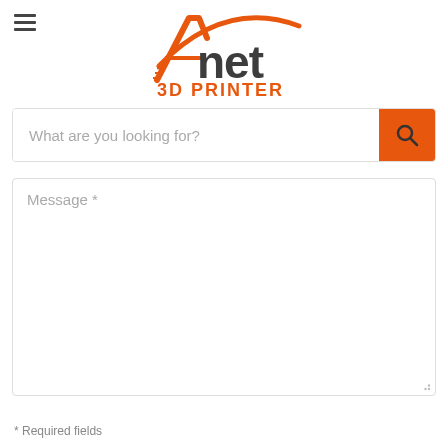[Figure (logo): Anet 3D Printer logo with orange stylized A and orange swoosh, dark gray 'net' text, orange '3D PRINTER' text below]
What are you looking for?
Message *
* Required fields